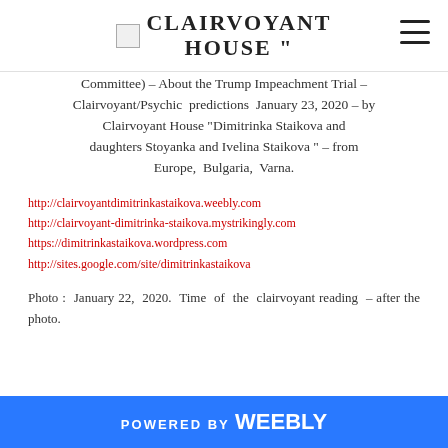CLAIRVOYANT HOUSE
Committee) – About the Trump Impeachment Trial – Clairvoyant/Psychic predictions January 23, 2020 – by Clairvoyant House "Dimitrinka Staikova and daughters Stoyanka and Ivelina Staikova " – from Europe, Bulgaria, Varna.
http://clairvoyantdimitrinkastaikova.weebly.com
http://clairvoyant-dimitrinka-staikova.mystrikingly.com
https://dimitrinkastaikova.wordpress.com
http://sites.google.com/site/dimitrinkastaikova
Photo : January 22, 2020. Time of the clairvoyant reading – after the photo.
POWERED BY weebly